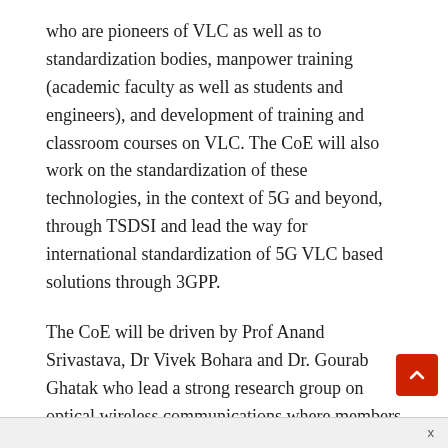who are pioneers of VLC as well as to standardization bodies, manpower training (academic faculty as well as students and engineers), and development of training and classroom courses on VLC. The CoE will also work on the standardization of these technologies, in the context of 5G and beyond, through TSDSI and lead the way for international standardization of 5G VLC based solutions through 3GPP.
The CoE will be driven by Prof Anand Srivastava, Dr Vivek Bohara and Dr. Gourab Ghatak who lead a strong research group on optical wireless communications where members are involved in developing hardware and algorithms for indoor LiFi systems, hybrid RF-VLC systems, and VLC systems for V2V applications.
VLC/LiFi technology is particularly interesting in the Indian context, as the Govt of India has launched a scheme for LED bulb distribution under the domestic efficient lighting program (DELP), in the purview of which India has